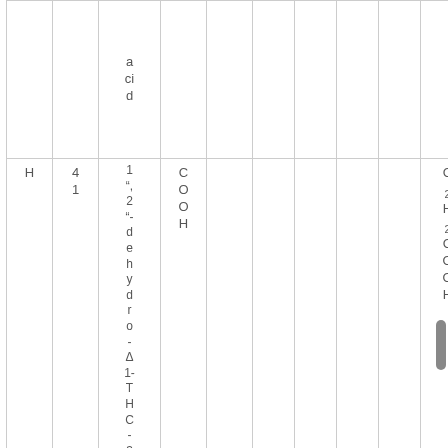|  |  | acid |  |  |  |  |  |  |  |
| H | 41 | 1 “,
2 “-
dehydro-
Δ1-
THC-
3 | COOH |  |  |  |  |  | C2H2COOH |